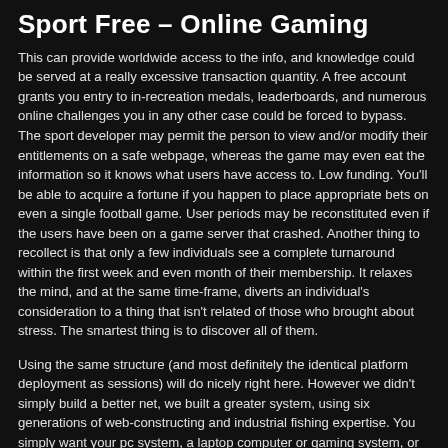Sport Free – Online Gaming
This can provide worldwide access to the info, and knowledge could be served at a really excessive transaction quantity. A free account grants you entry to in-recreation medals, leaderboards, and numerous online challenges you in any other case could be forced to bypass. The sport developer may permit the person to view and/or modify their entitlements on a safe webpage, whereas the game may even eat the information so it knows what users have access to. Low funding. You'll be able to acquire a fortune if you happen to place appropriate bets on even a single football game. User periods may be reconstituted even if the users have been on a game server that crashed. Another thing to recollect is that only a few individuals see a complete turnaround within the first week and even month of their membership. It relaxes the mind, and at the same time-frame, diverts an individual's consideration to a thing that isn't related of those who brought about stress. The smartest thing is to discover all of them.
Using the same structure (and most definitely the identical platform deployment as sessions) will do nicely right here. However we didn't simply build a better net, we built a greater system, using six generations of web-constructing and industrial fishing expertise. You simply want your pc system, a laptop computer or gaming system, or probably your next door cyber cafe. With so many NoSQL databases now available, one would possibly wonder